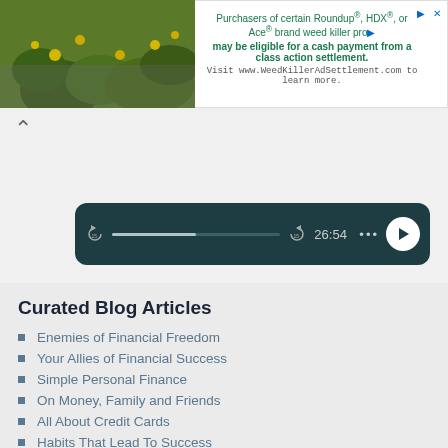[Figure (screenshot): Advertisement banner for WeedKillerAdSettlement.com class action settlement, with plant image on left and text on right]
[Figure (screenshot): Audio/podcast player controls showing progress bar, timestamp 26:54, and play button on dark teal background]
Curated Blog Articles
Enemies of Financial Freedom
Your Allies of Financial Success
Simple Personal Finance
On Money, Family and Friends
All About Credit Cards
Habits That Lead To Success
How To Start A Business